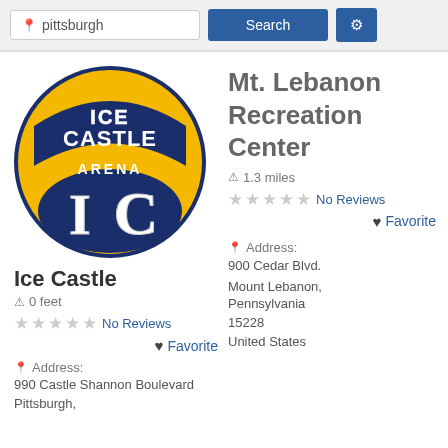pittsburgh | Search | settings
[Figure (logo): Ice Castle Arena logo: circular yellow and blue logo with text ICE CASTLE ARENA and stylized IC letters]
Ice Castle
0 feet
No Reviews
Favorite
Address:
990 Castle Shannon Boulevard
Pittsburgh,
Mt. Lebanon Recreation Center
1.3 miles
No Reviews
Favorite
Address:
900 Cedar Blvd.
Mount Lebanon, Pennsylvania 15228 United States